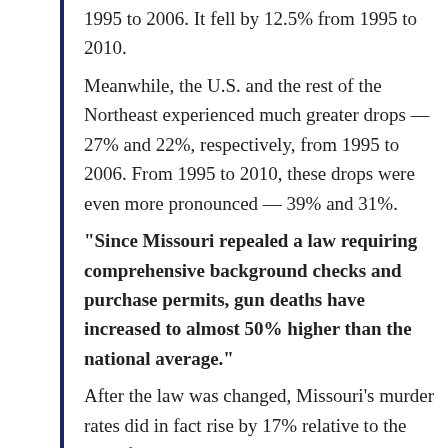1995 to 2006. It fell by 12.5% from 1995 to 2010.
Meanwhile, the U.S. and the rest of the Northeast experienced much greater drops — 27% and 22%, respectively, from 1995 to 2006. From 1995 to 2010, these drops were even more pronounced — 39% and 31%.
"Since Missouri repealed a law requiring comprehensive background checks and purchase permits, gun deaths have increased to almost 50% higher than the national average."
After the law was changed, Missouri's murder rates did in fact rise by 17% relative to the rest of the U.S.
However, murder rates were already on a sharp,